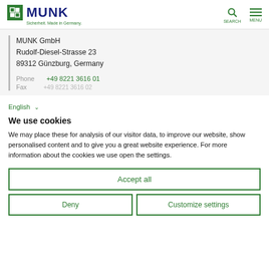MUNK GmbH - Sicherheit. Made in Germany. [SEARCH] [MENU]
MUNK GmbH
Rudolf-Diesel-Strasse 23
89312 Günzburg, Germany

Phone  +49 8221 3616 01
Fax    +49 8221 3616 02
English
We use cookies
We may place these for analysis of our visitor data, to improve our website, show personalised content and to give you a great website experience. For more information about the cookies we use open the settings.
Accept all
Deny
Customize settings